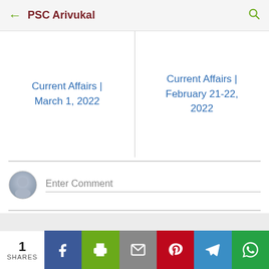PSC Arivukal
Current Affairs | March 1, 2022
Current Affairs | February 21-22, 2022
Enter Comment
1 SHARES